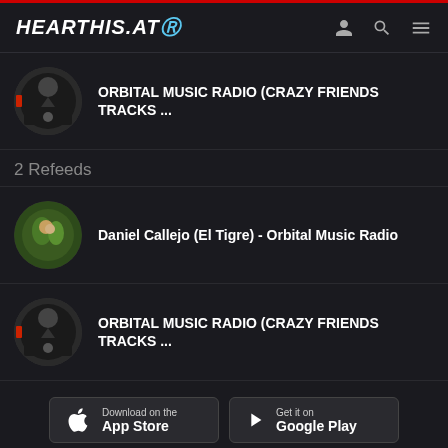HEARTHIS.AT
ORBITAL MUSIC RADIO (CRAZY FRIENDS TRACKS ...
2 Refeeds
Daniel Callejo (El Tigre) - Orbital Music Radio
ORBITAL MUSIC RADIO (CRAZY FRIENDS TRACKS ...
[Figure (other): Download on the App Store button]
[Figure (other): Get it on Google Play button]
report infringement